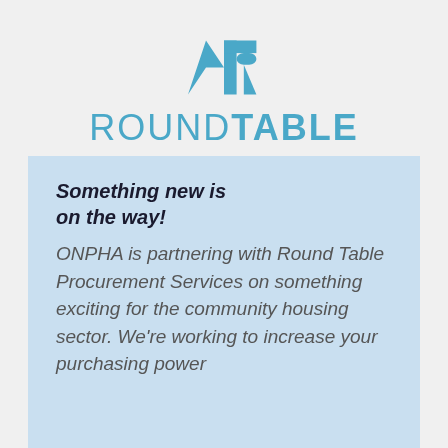[Figure (logo): Round Table Procurement Services logo — stylized R/T geometric icon in teal/steel blue above the wordmark ROUNDTABLE in teal]
ROUNDTABLE
Something new is on the way!
ONPHA is partnering with Round Table Procurement Services on something exciting for the community housing sector. We're working to increase your purchasing power